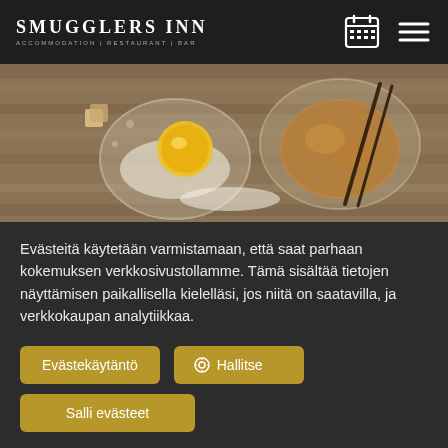SMUGGLERS INN — ACCOMMODATION | RESTAURANT | BAR
[Figure (photo): Photo of baking ingredients on a wooden table: a bowl with egg yolk, a bowl with brown sugar, scattered flour, and chopsticks]
Evästeitä käytetään varmistamaan, että saat parhaan kokemuksen verkkosivustollamme. Tämä sisältää tietojen näyttämisen paikallisella kielelläsi, jos niitä on saatavilla, ja verkkokaupan analytiikkaa.
Evästekäytäntö
Hallitse
Salli evästeet